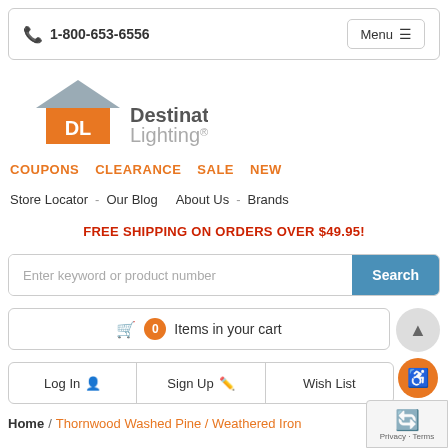1-800-653-6556  Menu
[Figure (logo): Destination Lighting logo with orange house and DL letters]
COUPONS  CLEARANCE  SALE  NEW
Store Locator - Our Blog  About Us - Brands
FREE SHIPPING ON ORDERS OVER $49.95!
Enter keyword or product number  Search
🛒 0 Items in your cart
Log In  Sign Up  Wish List
Home / Thornwood Washed Pine / Weathered Iron